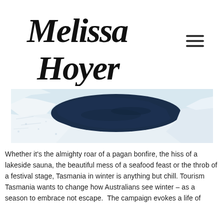Melissa Hoyer
[Figure (photo): Aerial view of a dark blue lake or water body surrounded by white snow/salt flats, photographed from above showing abstract patterns of ice and water.]
Whether it's the almighty roar of a pagan bonfire, the hiss of a lakeside sauna, the beautiful mess of a seafood feast or the throb of a festival stage, Tasmania in winter is anything but chill. Tourism Tasmania wants to change how Australians see winter – as a season to embrace not escape.  The campaign evokes a life of